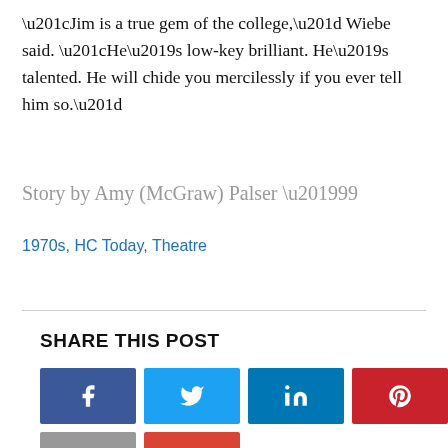“Jim is a true gem of the college,” Wiebe said. “He’s low-key brilliant. He’s talented. He will chide you mercilessly if you ever tell him so.”
Story by Amy (McGraw) Palser ’99
1970s, HC Today, Theatre
SHARE THIS POST
[Figure (infographic): Social media share buttons: Facebook (blue), Twitter (light blue), LinkedIn (dark blue), Pinterest (red), Print (gray), Email (red-orange)]